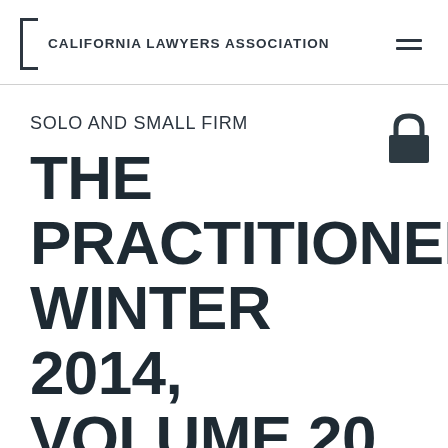CALIFORNIA LAWYERS ASSOCIATION
SOLO AND SMALL FIRM
THE PRACTITIONER WINTER 2014, VOLUME 20,